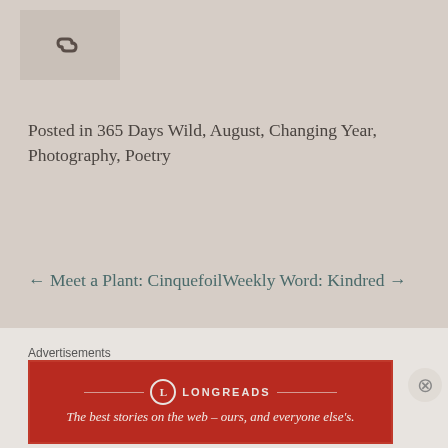[Figure (illustration): Chain link / share icon in a gray box]
Posted in 365 Days Wild, August, Changing Year, Photography, Poetry
← Meet a Plant: Cinquefoil  Weekly Word: Kindred →
3 thoughts on "Spirit of the Air"
Advertisements
[Figure (infographic): Longreads advertisement banner: red background with logo and tagline 'The best stories on the web — ours, and everyone else's.']